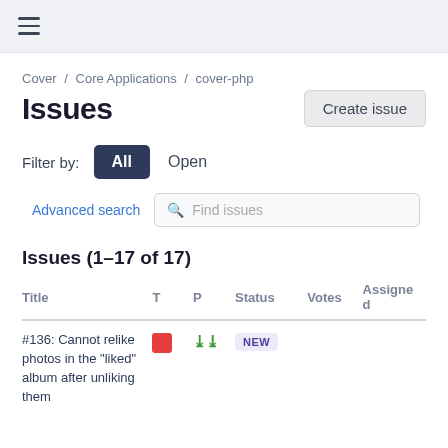≡
Cover / Core Applications / cover-php
Issues
Create issue
Filter by: All  Open
Advanced search  Find issues
Issues (1–17 of 17)
| Title | T | P | Status | Votes | Assigned |
| --- | --- | --- | --- | --- | --- |
| #136: Cannot relike photos in the "liked" album after unliking them | ■ | ❯❯ | NEW |  |  |